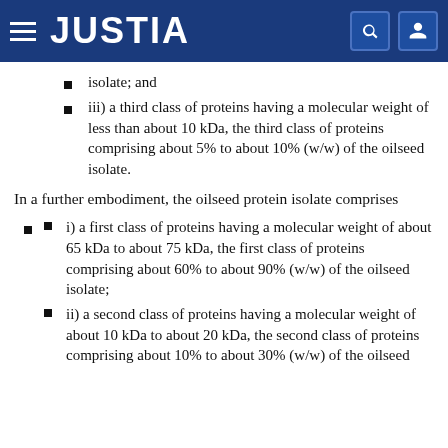JUSTIA
isolate; and
iii) a third class of proteins having a molecular weight of less than about 10 kDa, the third class of proteins comprising about 5% to about 10% (w/w) of the oilseed isolate.
In a further embodiment, the oilseed protein isolate comprises
i) a first class of proteins having a molecular weight of about 65 kDa to about 75 kDa, the first class of proteins comprising about 60% to about 90% (w/w) of the oilseed isolate;
ii) a second class of proteins having a molecular weight of about 10 kDa to about 20 kDa, the second class of proteins comprising about 10% to about 30% (w/w) of the oilseed isolate;